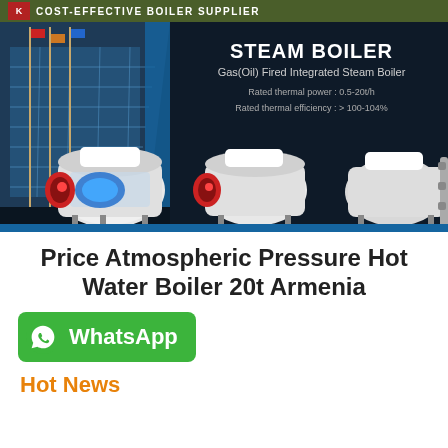COST-EFFECTIVE BOILER SUPPLIER
[Figure (photo): Steam boiler product banner showing three industrial gas/oil fired integrated steam boilers against a dark background, with a building facade with flagpoles on the left. Text overlay reads: STEAM BOILER, Gas(Oil) Fired Integrated Steam Boiler, Rated thermal power: 0.5-20t/h, Rated thermal efficiency: >100-104%]
Price Atmospheric Pressure Hot Water Boiler 20t Armenia
[Figure (logo): WhatsApp contact button - green rounded rectangle with WhatsApp icon and text 'WhatsApp']
Hot News